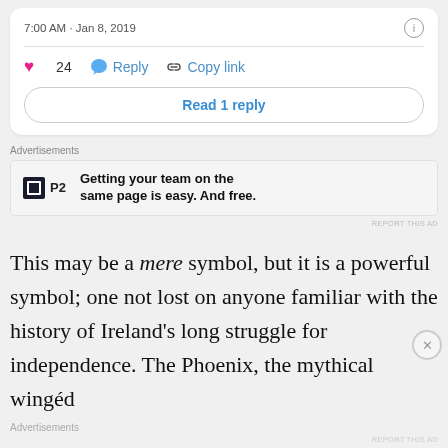7:00 AM · Jan 8, 2019
24  Reply  Copy link
Read 1 reply
Advertisements
[Figure (other): P2 advertisement: logo with black square and P2 text, ad copy reads 'Getting your team on the same page is easy. And free.']
REPORT THIS AD
This may be a mere symbol, but it is a powerful symbol; one not lost on anyone familiar with the history of Ireland's long struggle for independence. The Phoenix, the mythical wingéd
Advertisements
REPORT THIS AD